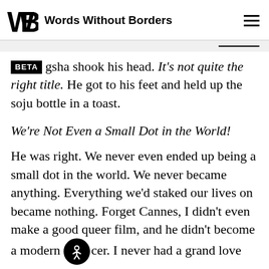Words Without Borders
gsha shook his head. It’s not quite the right title. He got to his feet and held up the soju bottle in a toast.
We’re Not Even a Small Dot in the World!
He was right. We never even ended up being a small dot in the world. We never became anything. Everything we’d staked our lives on became nothing. Forget Cannes, I didn’t even make a good queer film, and he didn’t become a modern cer. I never had a grand love affair and lurched into adulthood without even realizing what kind